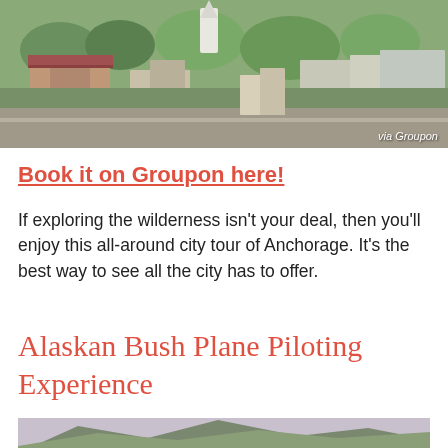[Figure (photo): Aerial view of Anchorage city with buildings and trees, labeled 'via Groupon']
Book it on Groupon here!
If exploring the wilderness isn't your deal, then you'll enjoy this all-around city tour of Anchorage. It's the best way to see all the city has to offer.
Alaskan Bush Plane Piloting Experience
[Figure (photo): Mountain landscape with green slopes and purple/grey peaks]